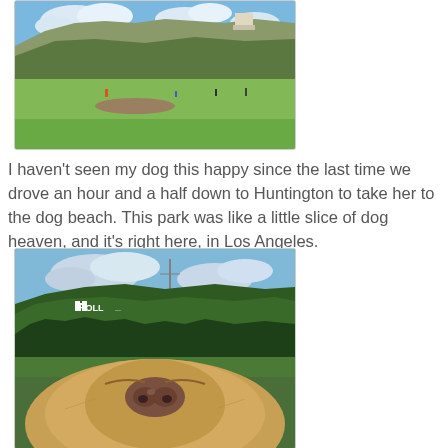[Figure (photo): Outdoor park with green grass field, people playing, surrounded by hills with a building visible on the hilltop, blue sky with clouds — appears to be Griffith Park or similar Los Angeles park.]
I haven't seen my dog this happy since the last time we drove an hour and a half down to Huntington to take her to the dog beach. This park was like a little slice of dog heaven, and it's right here, in Los Angeles.
[Figure (photo): Close-up of a dog's nose and face from below, with Hollywood sign partially visible (showing 'HOLL') on green tree-covered hills behind blue cloudy sky.]